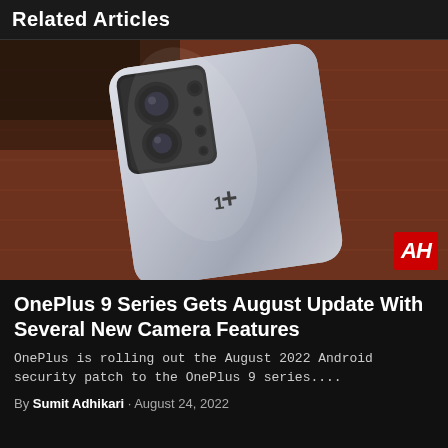Related Articles
[Figure (photo): Back of a OnePlus 9 smartphone with triple camera module, placed on a terracotta-colored textured surface. AH logo badge in bottom-right corner.]
OnePlus 9 Series Gets August Update With Several New Camera Features
OnePlus is rolling out the August 2022 Android security patch to the OnePlus 9 series....
By Sumit Adhikari · August 24, 2022